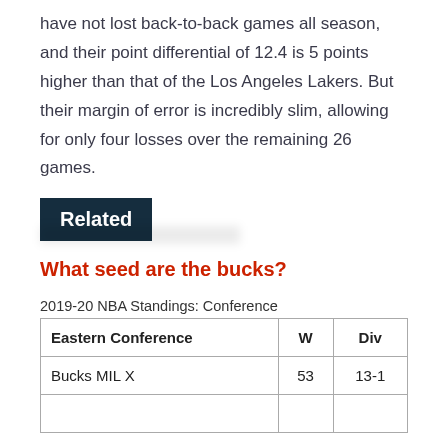have not lost back-to-back games all season, and their point differential of 12.4 is 5 points higher than that of the Los Angeles Lakers. But their margin of error is incredibly slim, allowing for only four losses over the remaining 26 games.
Related
What seed are the bucks?
2019-20 NBA Standings: Conference
| Eastern Conference | W | Div |
| --- | --- | --- |
| Bucks MIL X | 53 | 13-1 |